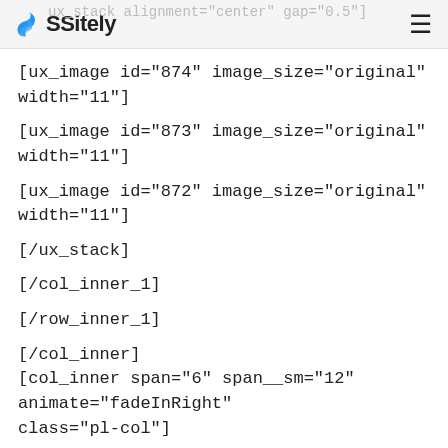[ux_stack alignment="center" gap="0.5"] Sitely ≡
[ux_image id="874" image_size="original" width="11"]
[ux_image id="873" image_size="original" width="11"]
[ux_image id="872" image_size="original" width="11"]
[/ux_stack]
[/col_inner_1]
[/row_inner_1]
[/col_inner]
[col_inner span="6" span__sm="12" animate="fadeInRight" class="pl-col"]
[ux_banner height="500px" bg="250" bg_color="rgba(0, 0, 0)" video_mp4="https://sitelyco.com/wp-content/uploads/2021/05/KULT.mp4"